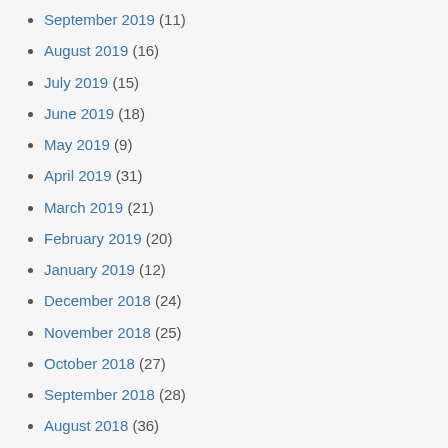September 2019 (11)
August 2019 (16)
July 2019 (15)
June 2019 (18)
May 2019 (9)
April 2019 (31)
March 2019 (21)
February 2019 (20)
January 2019 (12)
December 2018 (24)
November 2018 (25)
October 2018 (27)
September 2018 (28)
August 2018 (36)
July 2018 (29)
June 2018 (27)
May 2018 (25)
April 2018 (27)